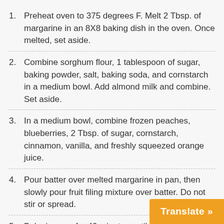1. Preheat oven to 375 degrees F. Melt 2 Tbsp. of margarine in an 8X8 baking dish in the oven. Once melted, set aside.
2. Combine sorghum flour, 1 tablespoon of sugar, baking powder, salt, baking soda, and cornstarch in a medium bowl. Add almond milk and combine. Set aside.
3. In a medium bowl, combine frozen peaches, blueberries, 2 Tbsp. of sugar, cornstarch, cinnamon, vanilla, and freshly squeezed orange juice.
4. Pour batter over melted margarine in pan, then slowly pour fruit filing mixture over batter. Do not stir or spread.
5. Bake in oven for 40 minutes until fruit is bubbling and crust is brown.